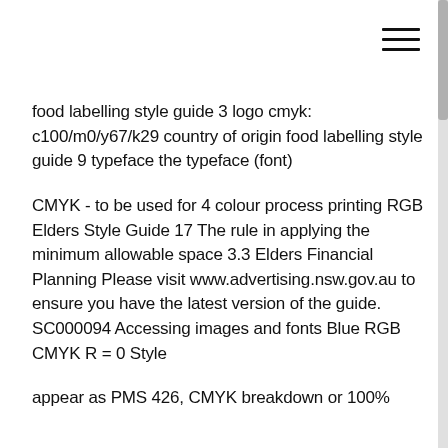[Figure (other): Hamburger menu icon (three horizontal lines) in top right corner]
food labelling style guide 3 logo cmyk: c100/m0/y67/k29 country of origin food labelling style guide 9 typeface the typeface (font)
CMYK - to be used for 4 colour process printing RGB Elders Style Guide 17 The rule in applying the minimum allowable space 3.3 Elders Financial Planning Please visit www.advertising.nsw.gov.au to ensure you have the latest version of the guide. SC000094 Accessing images and fonts Blue RGB CMYK R = 0 Style
appear as PMS 426, CMYK breakdown or 100%